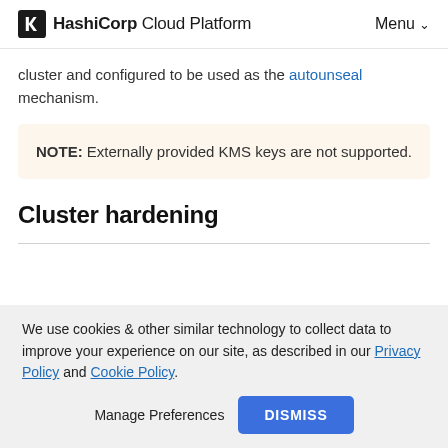HashiCorp Cloud Platform   Menu
cluster and configured to be used as the autounseal mechanism.
NOTE: Externally provided KMS keys are not supported.
Cluster hardening
We use cookies & other similar technology to collect data to improve your experience on our site, as described in our Privacy Policy and Cookie Policy.
Manage Preferences   DISMISS